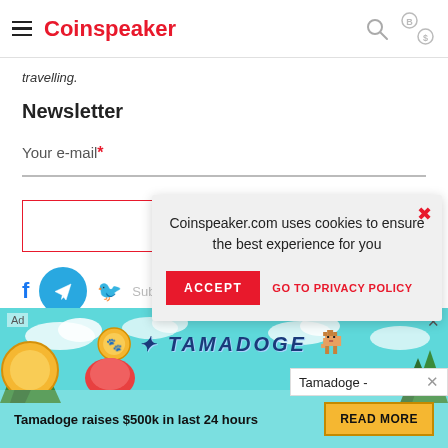Coinspeaker
travelling.
Newsletter
Your e-mail *
[Figure (screenshot): Cookie consent popup: Coinspeaker.com uses cookies to ensure the best experience for you, with ACCEPT button and GO TO PRIVACY POLICY link]
Tamadoge -
[Figure (infographic): Tamadoge advertisement banner: Tamadoge raises $500k in last 24 hours, READ MORE button, pixel-art shiba dog and Tamadoge logo on cyan sky background with trees]